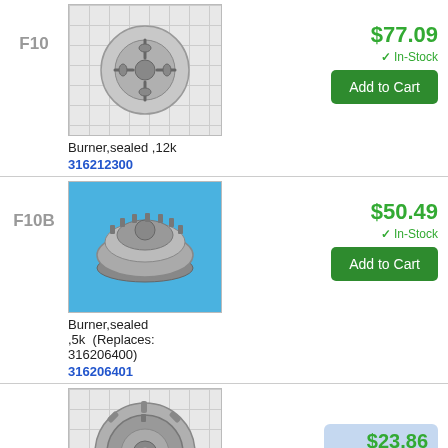[Figure (photo): Circular sealed burner part (12k) viewed from above, shown against a tiled grid background]
Burner,sealed ,12k
316212300
F10
$77.09
In-Stock
Add to Cart
[Figure (photo): Circular sealed burner part (5k) viewed from above, shown against a blue background]
Burner,sealed ,5k  (Replaces: 316206400)
316206401
F10B
$50.49
In-Stock
Add to Cart
[Figure (photo): Circular sealed burner part viewed from above, shown against a tiled grid background]
F10C
$23.86
In-Stock
Add to Cart